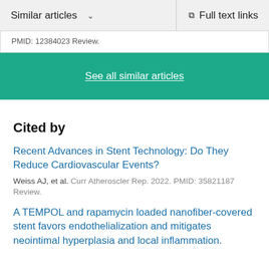Similar articles   ∨      Full text links
PMID: 12384023 Review.
See all similar articles
Cited by
Recent Advances in Stent Technology: Do They Reduce Cardiovascular Events?
Weiss AJ, et al. Curr Atheroscler Rep. 2022. PMID: 35821187 Review.
A TEMPOL and rapamycin loaded nanofiber-covered stent favors endothelialization and mitigates neointimal hyperplasia and local inflammation.